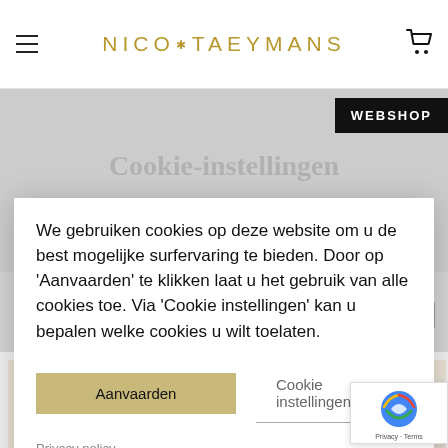NICO*TAEYMANS
WEBSHOP
We gebruiken cookies op deze website om u de best mogelijke surfervaring te bieden. Door op 'Aanvaarden' te klikken laat u het gebruik van alle cookies toe. Via 'Cookie instellingen' kan u bepalen welke cookies u wilt toelaten.
Aanvaarden
Cookie instellingen
Privacy policy
[Figure (screenshot): Cookie consent dialog overlay on Nico Taeymans jewellery webshop with product thumbnails visible in background]